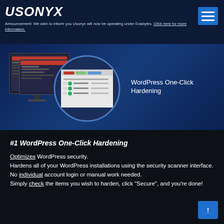USONYX — Announcement: We wish to inform you Usonyx will now be operating under Exabytes. Click here for more information.
[Figure (screenshot): WordPress security scanner interface screenshot shown on monitor and zoomed circular magnifier, with text 'WordPress One-Click Hardening' to the right, on dark blue background]
#1 WordPress One-Click Hardening
Optimizes WordPress security. Hardens all of your WordPress installations using the security scanner interface. No individual account login or manual work needed. Simply check the items you wish to harden, click "Secure", and you're done!